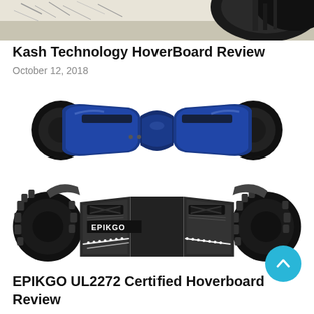[Figure (photo): Top portion of a hoverboard scene, partially cropped at the top of the page]
Kash Technology HoverBoard Review
October 12, 2018
[Figure (photo): Blue hoverboard (two-wheeled self-balancing scooter) viewed from above on a white background]
[Figure (photo): EPIKGO off-road hoverboard with large knobby tires, dark metallic body with LED lights and EPIKGO branding, viewed from front-above angle]
EPIKGO UL2272 Certified Hoverboard Review